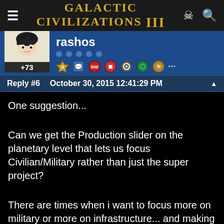Galactic Civilizations III
rashos +73
Reply #6   October 30, 2015 12:41:29 PM
One suggestion...
Can we get the Production slider on the planetary level that lets us focus Civilian/Military rather than just the super project?
There are times when i want to focus more on military or more on infrastructure... and making it so  I can only be building ships at max if I am not building any infrastructure seems to defeat the whole reason we